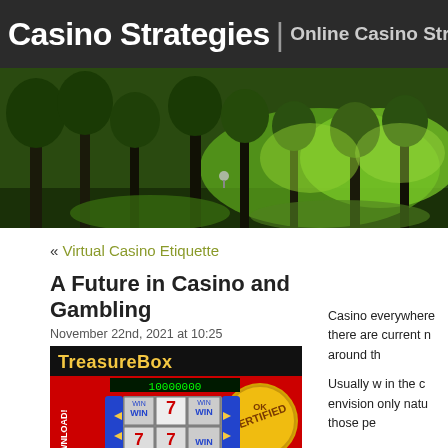Casino Strategies | Online Casino Strategies A
[Figure (photo): Forest banner image with green trees and sunlight]
« Virtual Casino Etiquette
A Future in Casino and Gambling
November 22nd, 2021 at 10:25
[Figure (screenshot): TreasureBox slot machine game screenshot with NO DOWNLOAD label and CERTIFIED badge]
Casino everywhere there are current r around th
Usually w in the c envision only natu those pe